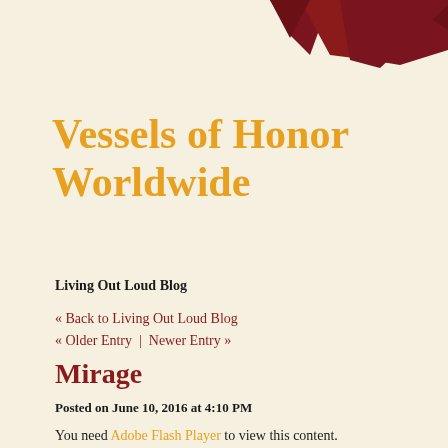[Figure (illustration): Dark red/maroon decorative banner graphic at the top of the page with triangular/pointed shapes against a cream background]
Vessels of Honor Worldwide
Living Out Loud Blog
« Back to Living Out Loud Blog
« Older Entry  |  Newer Entry »
Mirage
Posted on June 10, 2016 at 4:10 PM
You need Adobe Flash Player to view this content.